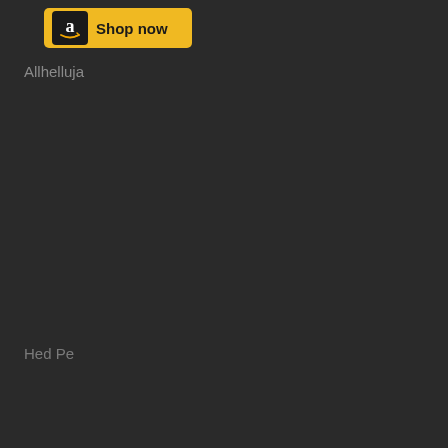[Figure (logo): Amazon 'Shop now' button with Amazon logo on dark square and yellow background]
Allhelluja
Hed Pe